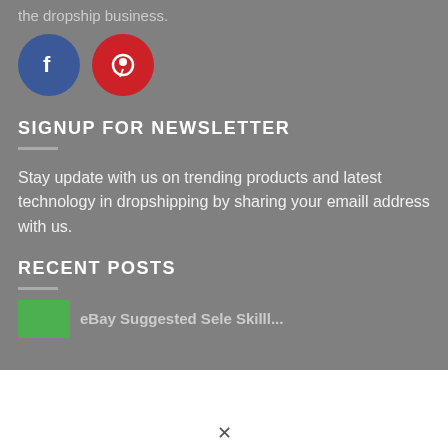the dropship business.
[Figure (illustration): Facebook blue circle icon and Pinterest red circle icon side by side]
SIGNUP FOR NEWSLETTER
Stay update with us on trending products and latest technology in dropshipping by sharing your emaill address with us.
RECENT POSTS
[Figure (photo): Green thumbnail image partially visible at bottom with partial post title text]